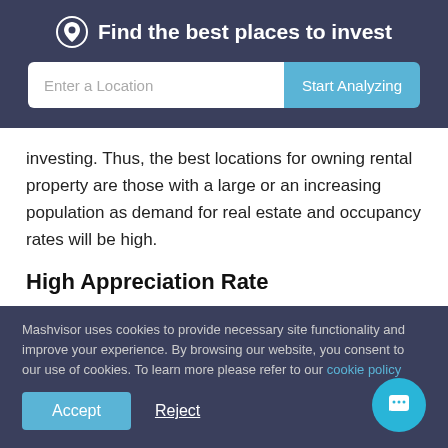Find the best places to invest
[Figure (screenshot): Search bar with 'Enter a Location' input field and 'Start Analyzing' button]
investing. Thus, the best locations for owning rental property are those with a large or an increasing population as demand for real estate and occupancy rates will be high.
High Appreciation Rate
In real estate investing, appreciation means an increase in the investment property value over time. Appreciation is a
Mashvisor uses cookies to provide necessary site functionality and improve your experience. By browsing our website, you consent to our use of cookies. To learn more please refer to our cookie policy